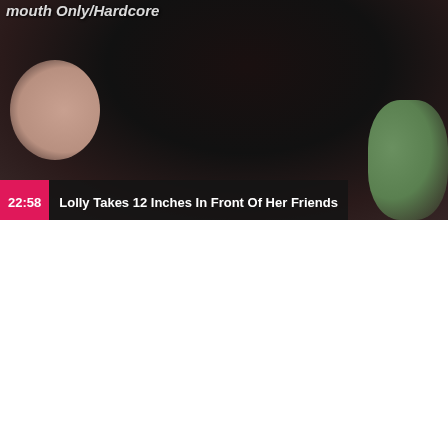[Figure (screenshot): Video thumbnail showing a close-up of a person with dark hair, partial face visible on the left, with a green/teal colored top partially visible on the right side. Dark blurred background. Overlaid at the bottom is a pink/magenta badge showing duration '22:58' and a dark semi-transparent bar with the video title 'Lolly Takes 12 Inches In Front Of Her Friends'. Partial header text visible at the very top.]
[Figure (illustration): Gray placeholder loading screen showing a hand-drawn style progress bar (black outlined rectangle with 4 filled black blocks inside) and the text 'LOADING...' in capital hand-drawn letters below it, on a gray background.]